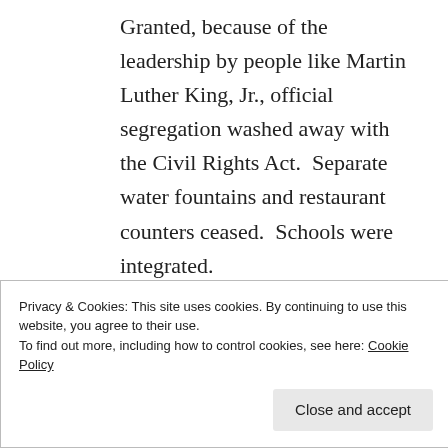Granted, because of the leadership by people like Martin Luther King, Jr., official segregation washed away with the Civil Rights Act. Separate water fountains and restaurant counters ceased. Schools were integrated.
But there's still unofficial segregation as we see when areas are predominantly inhabited by one color or another, or
Privacy & Cookies: This site uses cookies. By continuing to use this website, you agree to their use.
To find out more, including how to control cookies, see here: Cookie Policy